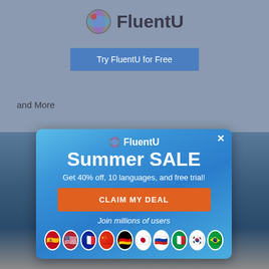[Figure (logo): FluentU globe logo and wordmark at top of page]
Try FluentU for Free
and More
[Figure (screenshot): FluentU Summer SALE modal popup overlay on a blue summer background with palm trees and flag icons for multiple languages. Text: FluentU Summer SALE, Get 40% off, 10 languages, and free trial!, CLAIM MY DEAL button, Join millions of users, and 10 country flag icons.]